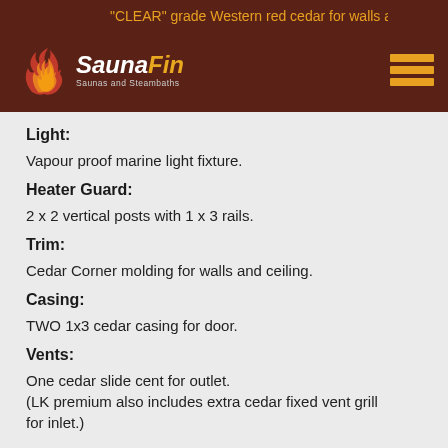SaunaFin Saunas and Steambaths
"CLEAR" grade Western red cedar for walls and
Light:
Vapour proof marine light fixture.
Heater Guard:
2 x 2 vertical posts with 1 x 3 rails.
Trim:
Cedar Corner molding for walls and ceiling.
Casing:
TWO 1x3 cedar casing for door.
Vents:
One cedar slide cent for outlet.
(LK premium also includes extra cedar fixed vent grill for inlet.)